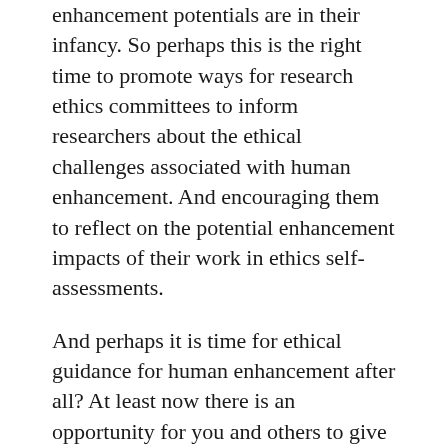enhancement potentials are in their infancy. So perhaps this is the right time to promote ways for research ethics committees to inform researchers about the ethical challenges associated with human enhancement. And encouraging them to reflect on the potential enhancement impacts of their work in ethics self-assessments.
And perhaps it is time for ethical guidance for human enhancement after all? At least now there is an opportunity for you and others to give input in a public consultation in mid-January 2021! If you want to give input to SIENNA's proposals for human enhancement, human genomics, artificial intelligence, and robotics, visit the website to sign up for news www.sienna-project.eu.
The public consultation will launch on January 11, the deadline to submit a response is January 25, 2021.